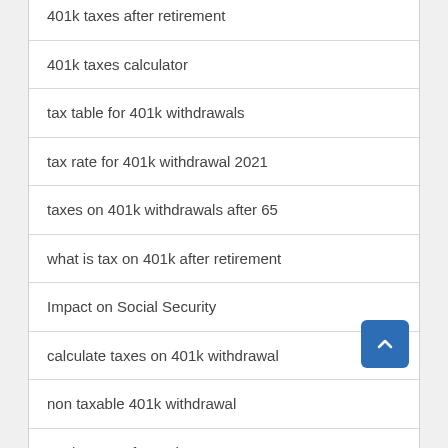401k taxes after retirement
401k taxes calculator
tax table for 401k withdrawals
tax rate for 401k withdrawal 2021
taxes on 401k withdrawals after 65
what is tax on 401k after retirement
Impact on Social Security
calculate taxes on 401k withdrawal
non taxable 401k withdrawal
401k taxes after retirement